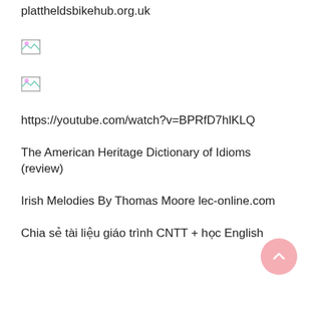plattheldsbikehub.org.uk
[Figure (other): Broken image placeholder 1]
[Figure (other): Broken image placeholder 2]
https://youtube.com/watch?v=BPRfD7hlKLQ
The American Heritage Dictionary of Idioms (review)
Irish Melodies By Thomas Moore lec-online.com
Chia sẻ tài liệu giáo trình CNTT + học English